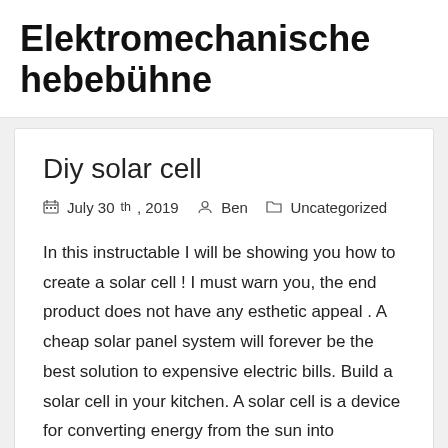Elektromechanische hebebühne
Diy solar cell
July 30th, 2019   Ben   Uncategorized
In this instructable I will be showing you how to create a solar cell ! I must warn you, the end product does not have any esthetic appeal . A cheap solar panel system will forever be the best solution to expensive electric bills. Build a solar cell in your kitchen. A solar cell is a device for converting energy from the sun into electricity.